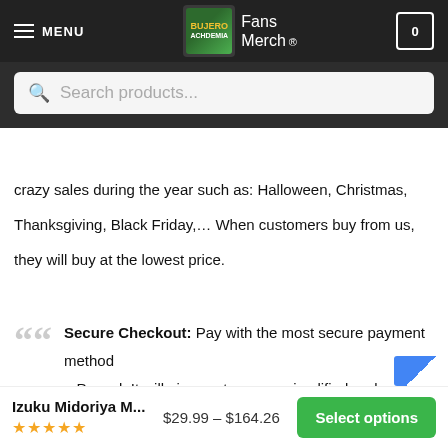MENU | Fans Merch ® | Cart: 0
Search products...
crazy sales during the year such as: Halloween, Christmas, Thanksgiving, Black Friday,… When customers buy from us, they will buy at the lowest price.
Secure Checkout: Pay with the most secure payment method – Paypal. It will give customers a simplified and secure checkout experience.
Izuku Midoriya M... $29.99 – $164.26
★★★★★
Select options